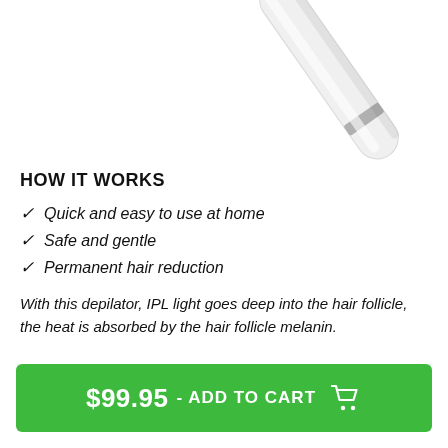[Figure (photo): Partial view of a white cylindrical IPL hair removal device angled diagonally, visible from top-right corner of page]
HOW IT WORKS
Quick and easy to use at home
Safe and gentle
Permanent hair reduction
With this depilator, IPL light goes deep into the hair follicle, the heat is absorbed by the hair follicle melanin.
$99.95 - ADD TO CART